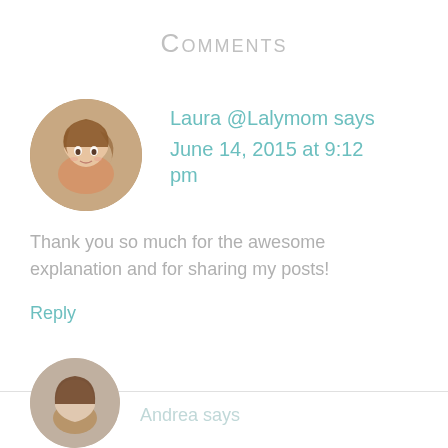Comments
[Figure (photo): Circular avatar photo of a young woman with brown hair, smiling, against a warm background]
Laura @Lalymom says
June 14, 2015 at 9:12 pm
Thank you so much for the awesome explanation and for sharing my posts!
Reply
[Figure (photo): Partial circular avatar of a second commenter at bottom of page]
Andrea says